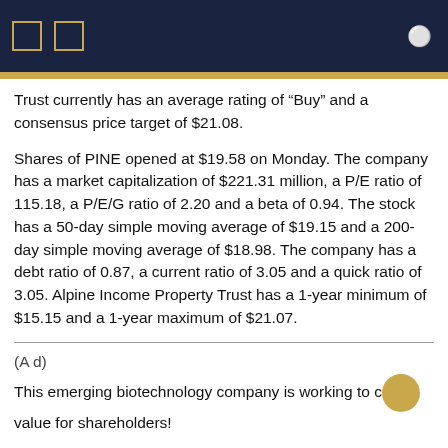Trust currently has an average rating of “Buy” and a consensus price target of $21.08.
Shares of PINE opened at $19.58 on Monday. The company has a market capitalization of $221.31 million, a P/E ratio of 115.18, a P/E/G ratio of 2.20 and a beta of 0.94. The stock has a 50-day simple moving average of $19.15 and a 200-day simple moving average of $18.98. The company has a debt ratio of 0.87, a current ratio of 3.05 and a quick ratio of 3.05. Alpine Income Property Trust has a 1-year minimum of $15.15 and a 1-year maximum of $21.07.
(A d)
This emerging biotechnology company is working to create value for shareholders!